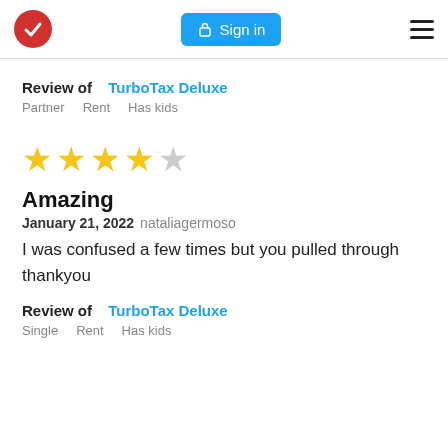TurboTax logo | Sign in | Menu
Review of  TurboTax Deluxe
Partner    Rent    Has kids
[Figure (other): 4 out of 5 stars rating]
Amazing
January 21, 2022  nataliagermoso
I was confused a few times but you pulled through thankyou
Review of  TurboTax Deluxe
Single    Rent    Has kids